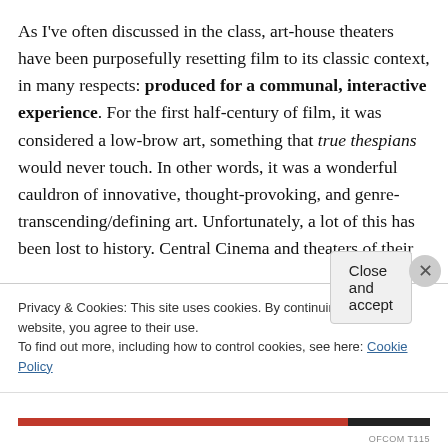As I've often discussed in the class, art-house theaters have been purposefully resetting film to its classic context, in many respects: produced for a communal, interactive experience. For the first half-century of film, it was considered a low-brow art, something that true thespians would never touch. In other words, it was a wonderful cauldron of innovative, thought-provoking, and genre-transcending/defining art. Unfortunately, a lot of this has been lost to history. Central Cinema and theaters of their
Privacy & Cookies: This site uses cookies. By continuing to use this website, you agree to their use.
To find out more, including how to control cookies, see here: Cookie Policy
Close and accept